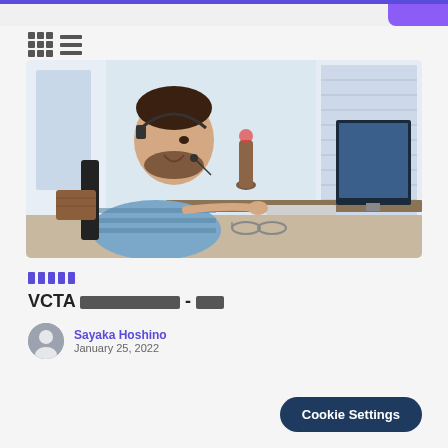[Figure (photo): A man wearing a headset and blue striped shirt sitting at a desk, smiling while working at a computer monitor in a bright home office environment.]
VCTA [redacted] - [redacted]
Sayaka Hoshino
January 25, 2022
Cookie Settings